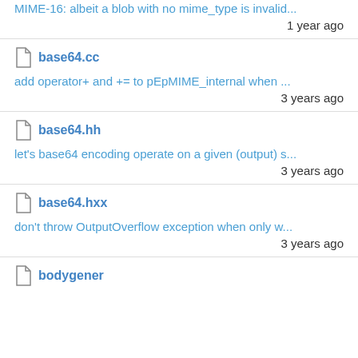MIME-16: albeit a blob with no mime_type is invalid...
1 year ago
base64.cc
add operator+ and += to pEpMIME_internal when ...
3 years ago
base64.hh
let's base64 encoding operate on a given (output) s...
3 years ago
base64.hxx
don't throw OutputOverflow exception when only w...
3 years ago
bodygener